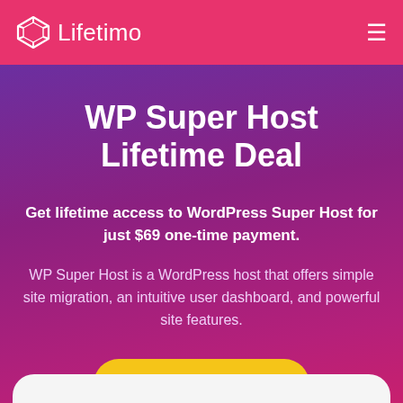Lifetimo
WP Super Host Lifetime Deal
Get lifetime access to WordPress Super Host for just $69 one-time payment.
WP Super Host is a WordPress host that offers simple site migration, an intuitive user dashboard, and powerful site features.
DEAL EXPIRED ☹